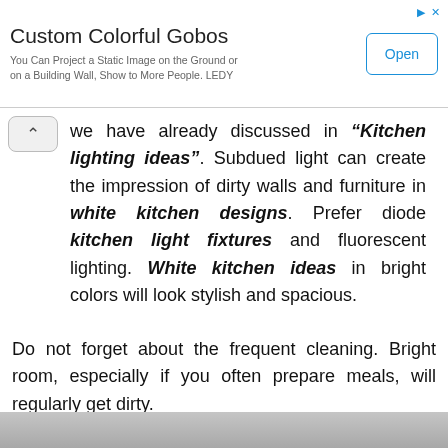[Figure (other): Advertisement banner: Custom Colorful Gobos. Text: You Can Project a Static Image on the Ground or on a Building Wall, Show to More People. LEDY. Open button on right.]
we have already discussed in “Kitchen lighting ideas”. Subdued light can create the impression of dirty walls and furniture in white kitchen designs. Prefer diode kitchen light fixtures and fluorescent lighting. White kitchen ideas in bright colors will look stylish and spacious.
Do not forget about the frequent cleaning. Bright room, especially if you often prepare meals, will regularly get dirty.
[Figure (photo): Partial photo visible at the bottom of the page.]